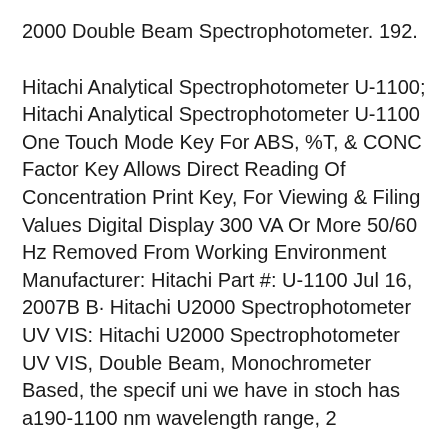2000 Double Beam Spectrophotometer. 192.
Hitachi Analytical Spectrophotometer U-1100; Hitachi Analytical Spectrophotometer U-1100 One Touch Mode Key For ABS, %T, & CONC Factor Key Allows Direct Reading Of Concentration Print Key, For Viewing & Filing Values Digital Display 300 VA Or More 50/60 Hz Removed From Working Environment Manufacturer: Hitachi Part #: U-1100 Jul 16, 2007B B· Hitachi U2000 Spectrophotometer UV VIS: Hitachi U2000 Spectrophotometer UV VIS, Double Beam, Monochrometer Based, the specif uni we have in stoch has a190-1100 nm wavelength range, 2